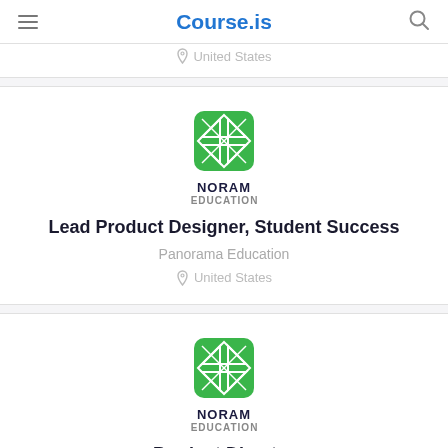Course.is
United States
[Figure (logo): Panorama Education logo — green square with geometric X pattern, text NORAM EDUCATION below]
Lead Product Designer, Student Success
Panorama Education
United States
[Figure (logo): Panorama Education logo — green square with geometric X pattern, text NORAM EDUCATION below]
Product Director
Panorama Education
United States